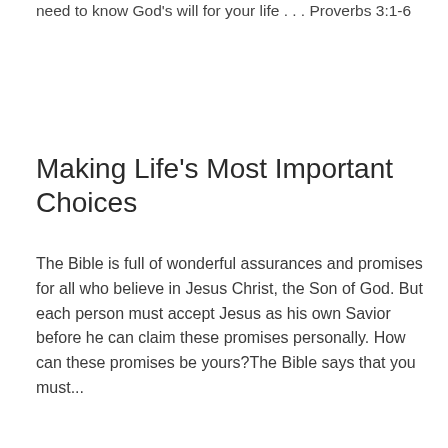need to know God’s will for your life . . . Proverbs 3:1-6
Making Life’s Most Important Choices
The Bible is full of wonderful assurances and promises for all who believe in Jesus Christ, the Son of God. But each person must accept Jesus as his own Savior before he can claim these promises personally. How can these promises be yours?The Bible says that you must...